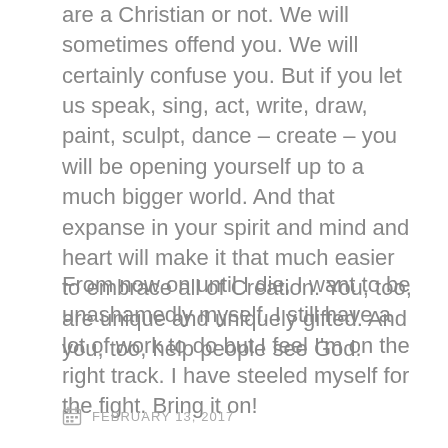are a Christian or not. We will sometimes offend you. We will certainly confuse you. But if you let us speak, sing, act, write, draw, paint, sculpt, dance – create – you will be opening yourself up to a much bigger world. And that expanse in your spirit and mind and heart will make it that much easier to embrace all of Creation. You, too, are unique and uniquely gifted. And you, too, help people see God.
From now on until I die, I want to be unashamedly myself. I still have a lot of work to do but I feel I'm on the right track. I have steeled myself for the fight. Bring it on!
FEBRUARY 13, 2017